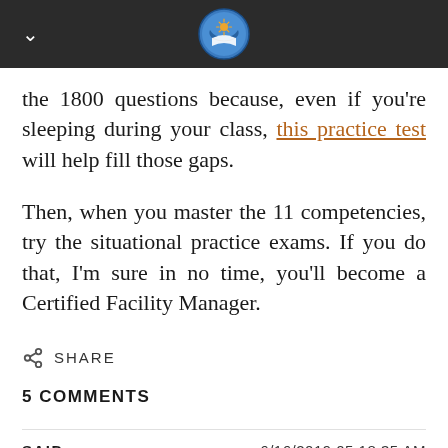the 1800 questions because, even if you're sleeping during your class, this practice test will help fill those gaps.
Then, when you master the 11 competencies, try the situational practice exams. If you do that, I'm sure in no time, you'll become a Certified Facility Manager.
SHARE
5 COMMENTS
SAID	6/16/2019 05:18:35 AM